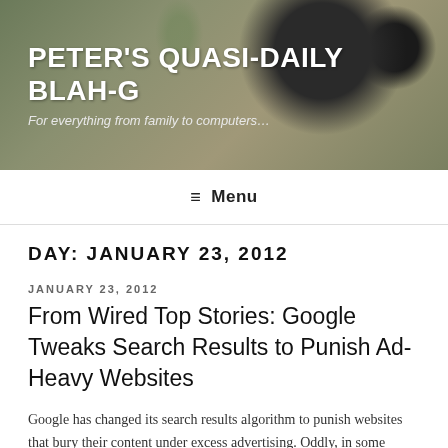PETER'S QUASI-DAILY BLAH-G
For everything from family to computers…
[Figure (photo): Blog header banner with photo of succulent plants in dark pots on a wooden table, with dark overlay behind white text.]
≡ Menu
DAY: JANUARY 23, 2012
JANUARY 23, 2012
From Wired Top Stories: Google Tweaks Search Results to Punish Ad-Heavy Websites
Google has changed its search results algorithm to punish websites that bury their content under excess advertising. Oddly, in some cases, Google's own pages…